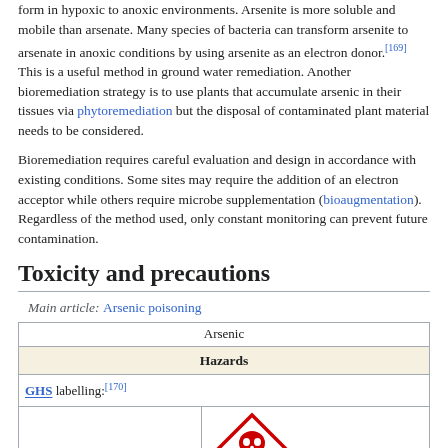form in hypoxic to anoxic environments. Arsenite is more soluble and mobile than arsenate. Many species of bacteria can transform arsenite to arsenate in anoxic conditions by using arsenite as an electron donor.[169] This is a useful method in ground water remediation. Another bioremediation strategy is to use plants that accumulate arsenic in their tissues via phytoremediation but the disposal of contaminated plant material needs to be considered.
Bioremediation requires careful evaluation and design in accordance with existing conditions. Some sites may require the addition of an electron acceptor while others require microbe supplementation (bioaugmentation). Regardless of the method used, only constant monitoring can prevent future contamination.
Toxicity and precautions
Main article: Arsenic poisoning
| Arsenic |  |
| --- | --- |
| Hazards |  |
| GHS labelling:[170] |  |
|  | GHS pictogram (skull icon) |